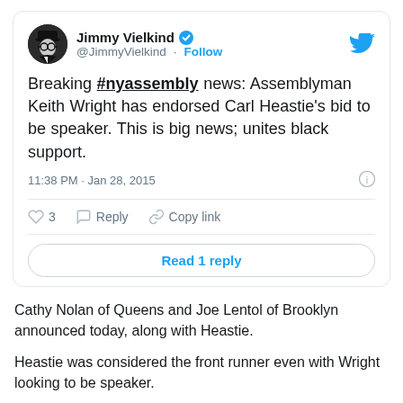[Figure (screenshot): Embedded tweet from @JimmyVielkind with profile avatar, verified badge, username, follow button, tweet text, timestamp, like/reply/copy link actions, and Read 1 reply button]
Cathy Nolan of Queens and Joe Lentol of Brooklyn announced today, along with Heastie.
Heastie was considered the front runner even with Wright looking to be speaker.